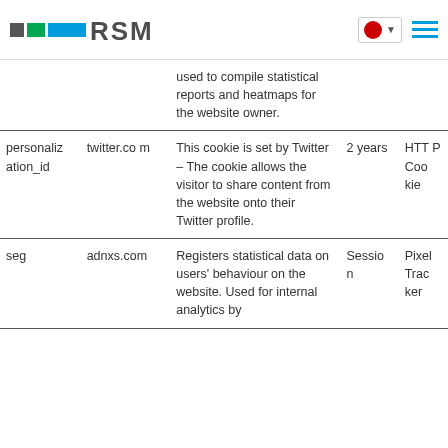RSM
| Cookie | Domain | Description | Duration | Type |
| --- | --- | --- | --- | --- |
|  |  | used to compile statistical reports and heatmaps for the website owner. |  |  |
| personalization_id | twitter.com | This cookie is set by Twitter – The cookie allows the visitor to share content from the website onto their Twitter profile. | 2 years | HTTP Cookie |
| seg | adnxs.com | Registers statistical data on users' behaviour on the website. Used for internal analytics by | Session | Pixel Tracker |